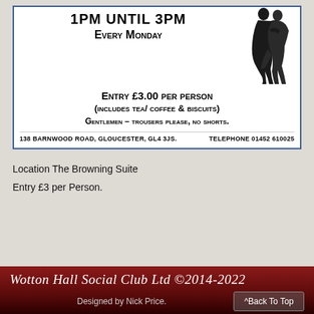[Figure (illustration): Event flyer for afternoon dancing at Wotton Hall Social Club, showing time 1PM UNTIL 3PM, Every Monday, Entry £3.00 per person (includes tea/coffee & biscuits), Gentlemen – trousers please, no shorts. Address: 138 Barnwood Road, Gloucester, GL4 3JS. Telephone 01452 610025. Silhouette of a dancing couple on the right.]
Location The Browning Suite
Entry £3 per Person.
Wotton Hall Social Club Ltd ©2014-2022
Designed by Nick Price.